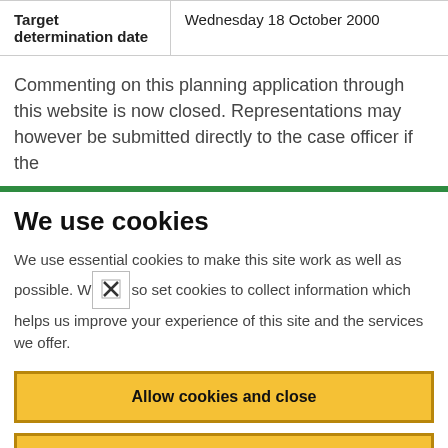| Target determination date |  |
| --- | --- |
| Target determination date | Wednesday 18 October 2000 |
Commenting on this planning application through this website is now closed. Representations may however be submitted directly to the case officer if the
We use cookies
We use essential cookies to make this site work as well as possible. We also set cookies to collect information which helps us improve your experience of this site and the services we offer.
Allow cookies and close
Cookie settings